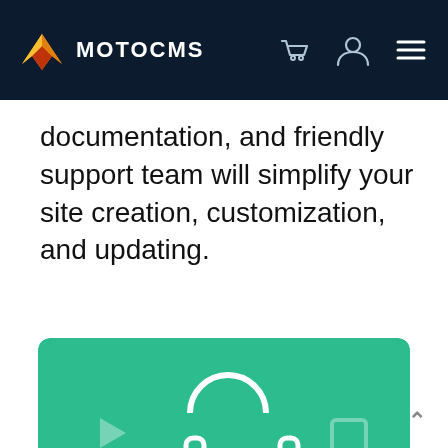MOTOCMS
documentation, and friendly support team will simplify your site creation, customization, and updating.
[Figure (illustration): Green card with headphones icon in center, play button icon on left, stop/square icon on right, with text partially visible at bottom ('24/7 support')]
This site uses cookies to provide you with the best experience on our website. Please, accept cookies for optimal performance. For full details, read our Cookie Policy.
Accept